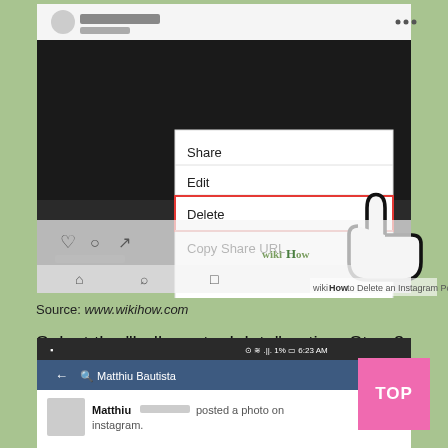[Figure (screenshot): Screenshot of Instagram app showing a menu with options: Share, Edit, Delete (highlighted with red border), Copy Share URL. A hand cursor icon points at Delete. WikiHow watermark visible. WikiHow to Delete an Instagram Post label at bottom.]
Source: www.wikihow.com
Select the “bulk posts delete” option. Step 3 out of the listed options, select delete.
[Figure (screenshot): Screenshot of Instagram app showing a search/profile view for Matthiu Bautista with a notification that Matthiu instagram posted a photo on, with a red-highlighted button on the right side.]
TOP